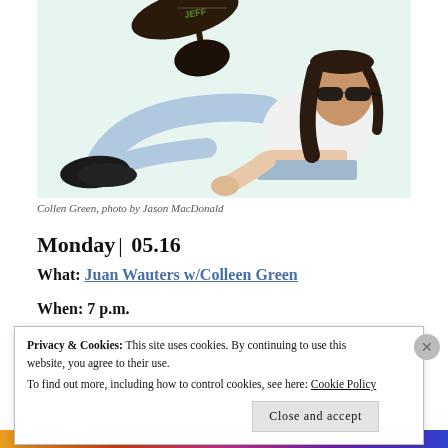[Figure (photo): A young woman wearing sunglasses, a white crop top, and light blue jeans, sitting on the floor leaning back on her elbows with legs bent. A dark electric guitar is visible floating in the upper left. Background is light mint/white.]
Collen Green, photo by Jason MacDonald
Monday | 05.16
What: Juan Wauters w/Colleen Green
When: 7 p.m.
Privacy & Cookies: This site uses cookies. By continuing to use this website, you agree to their use.
To find out more, including how to control cookies, see here: Cookie Policy
Close and accept